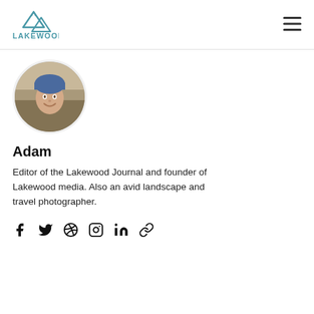LAKEWOOD
[Figure (photo): Circular profile photo of Adam, a person wearing a blue bandana outdoors]
Adam
Editor of the Lakewood Journal and founder of Lakewood media. Also an avid landscape and travel photographer.
[Figure (infographic): Social media icons: Facebook, Twitter, Dribbble, Instagram, LinkedIn, and a link icon]